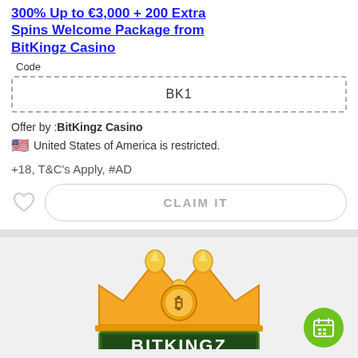300% Up to €3,000 + 200 Extra Spins Welcome Package from BitKingz Casino
Code
BK1
Offer by :BitKingz Casino
United States of America is restricted.
+18, T&C's Apply, #AD
[Figure (illustration): Heart icon (like/favorite button) and a CLAIM IT button with rounded border]
[Figure (logo): BitKingz Casino logo with crown and bitcoin symbol, green and gold colors on grey background]
150% up to €350 + 50 Extra Spins 1st Deposit Bonus from BitKingz Casino